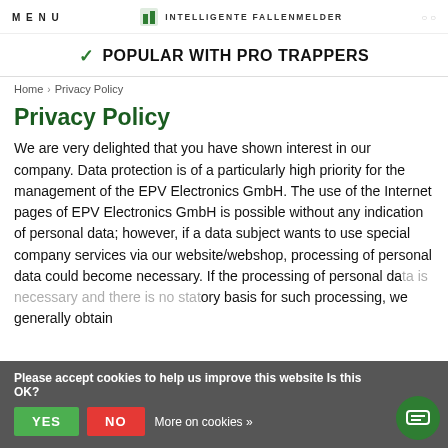MENU | INTELLIGENTE FALLENMELDER
✓ POPULAR WITH PRO TRAPPERS
Home › Privacy Policy
Privacy Policy
We are very delighted that you have shown interest in our company. Data protection is of a particularly high priority for the management of the EPV Electronics GmbH. The use of the Internet pages of EPV Electronics GmbH is possible without any indication of personal data; however, if a data subject wants to use special company services via our website/webshop, processing of personal data could become necessary. If the processing of personal data is necessary and there is no statutory basis for such processing, we generally obtain
Please accept cookies to help us improve this website Is this OK? YES NO More on cookies »